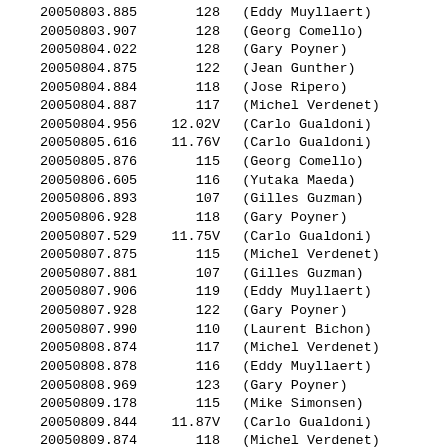| Date | Value | Observer |
| --- | --- | --- |
| 20050803.885 | 128 | (Eddy Muyllaert) |
| 20050803.907 | 128 | (Georg Comello) |
| 20050804.022 | 128 | (Gary Poyner) |
| 20050804.875 | 122 | (Jean Gunther) |
| 20050804.884 | 118 | (Jose Ripero) |
| 20050804.887 | 117 | (Michel Verdenet) |
| 20050804.956 | 12.02V | (Carlo Gualdoni) |
| 20050805.616 | 11.76V | (Carlo Gualdoni) |
| 20050805.876 | 115 | (Georg Comello) |
| 20050806.605 | 116 | (Yutaka Maeda) |
| 20050806.893 | 107 | (Gilles Guzman) |
| 20050806.928 | 118 | (Gary Poyner) |
| 20050807.529 | 11.75V | (Carlo Gualdoni) |
| 20050807.875 | 115 | (Michel Verdenet) |
| 20050807.881 | 107 | (Gilles Guzman) |
| 20050807.906 | 119 | (Eddy Muyllaert) |
| 20050807.928 | 122 | (Gary Poyner) |
| 20050807.990 | 110 | (Laurent Bichon) |
| 20050808.874 | 117 | (Michel Verdenet) |
| 20050808.878 | 116 | (Eddy Muyllaert) |
| 20050808.969 | 123 | (Gary Poyner) |
| 20050809.178 | 115 | (Mike Simonsen) |
| 20050809.844 | 11.87V | (Carlo Gualdoni) |
| 20050809.874 | 118 | (Michel Verdenet) |
| 20050809.881 | 116 | (Jose Ripero) |
| 20050809.990 | 117: | (Marian Legutko) |
| 20050810.599 | 123 | (Yutaka Maeda) |
| 20050810.864 | 118 | (Michel Verdenet) |
| 20050810.960 | 120 | (Laurent Bichon) |
| 20050810.967 | 124 | (Gary Poyner) |